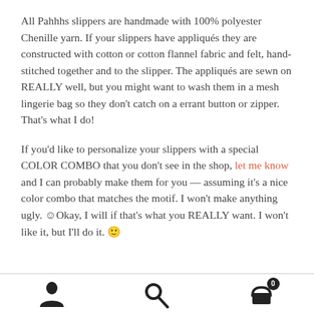All Pahhhs slippers are handmade with 100% polyester Chenille yarn. If your slippers have appliqués they are constructed with cotton or cotton flannel fabric and felt, hand-stitched together and to the slipper. The appliqués are sewn on REALLY well, but you might want to wash them in a mesh lingerie bag so they don't catch on a errant button or zipper. That's what I do!
If you'd like to personalize your slippers with a special COLOR COMBO that you don't see in the shop, let me know and I can probably make them for you — assuming it's a nice color combo that matches the motif. I won't make anything ugly. 🙂Okay, I will if that's what you REALLY want. I won't like it, but I'll do it. 🙂
Navigation bar with person icon, search icon, and cart icon (badge: 0)